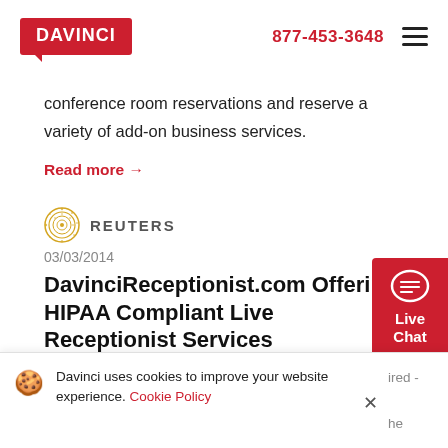DAVINCI | 877-453-3648
conference room reservations and reserve a variety of add-on business services.
Read more →
[Figure (logo): Reuters logo with golden circular icon and uppercase REUTERS text]
03/03/2014
DavinciReceptionist.com Offering HIPAA Compliant Live Receptionist Services
Davinci uses cookies to improve your website experience. Cookie Policy